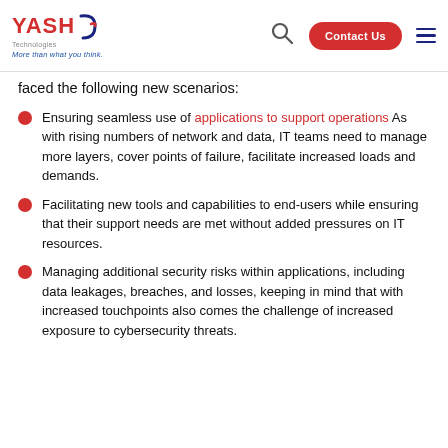YASH Technologies — Contact Us navigation bar
faced the following new scenarios:
Ensuring seamless use of applications to support operations As with rising numbers of network and data, IT teams need to manage more layers, cover points of failure, facilitate increased loads and demands.
Facilitating new tools and capabilities to end-users while ensuring that their support needs are met without added pressures on IT resources.
Managing additional security risks within applications, including data leakages, breaches, and losses, keeping in mind that with increased touchpoints also comes the challenge of increased exposure to cybersecurity threats.